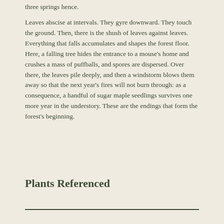three springs hence.
Leaves abscise at intervals. They gyre downward. They touch the ground. Then, there is the shush of leaves against leaves. Everything that falls accumulates and shapes the forest floor. Here, a falling tree hides the entrance to a mouse's home and crushes a mass of puffballs, and spores are dispersed. Over there, the leaves pile deeply, and then a windstorm blows them away so that the next year's fires will not burn through: as a consequence, a handful of sugar maple seedlings survives one more year in the understory. These are the endings that form the forest's beginning.
Plants Referenced